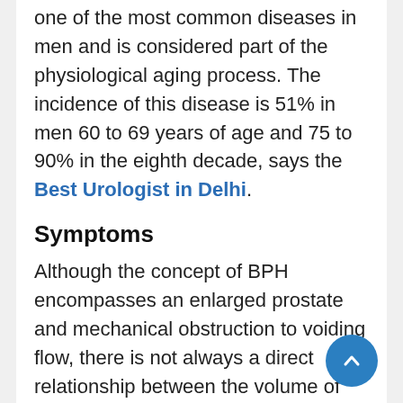one of the most common diseases in men and is considered part of the physiological aging process. The incidence of this disease is 51% in men 60 to 69 years of age and 75 to 90% in the eighth decade, says the Best Urologist in Delhi.
Symptoms
Although the concept of BPH encompasses an enlarged prostate and mechanical obstruction to voiding flow, there is not always a direct relationship between the volume of hyperplasia and the intensity of